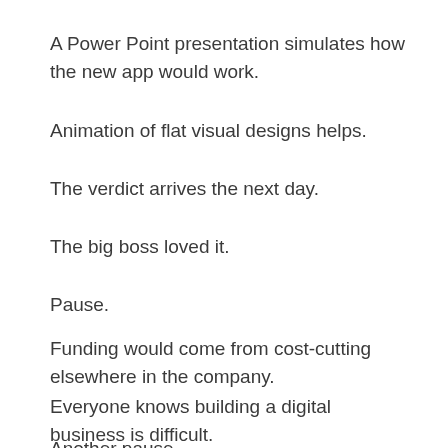A Power Point presentation simulates how the new app would work.
Animation of flat visual designs helps.
The verdict arrives the next day.
The big boss loved it.
Pause.
Funding would come from cost-cutting elsewhere in the company.
Everyone knows building a digital business is difficult.
Another pause.